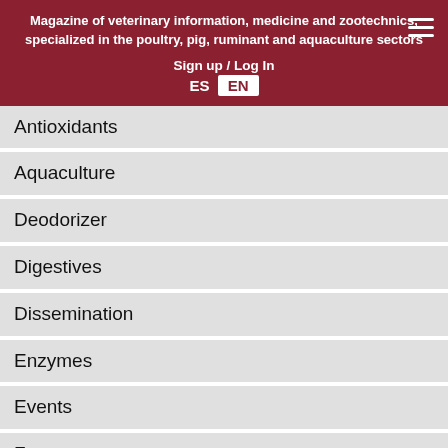Magazine of veterinary information, medicine and zootechnics, specialized in the poultry, pig, ruminant and aquaculture sectors
Sign up / Log In
ES  EN
Antioxidants
Aquaculture
Deodorizer
Digestives
Dissemination
Enzymes
Events
Farm management
Farm management
Fats
Feeding
Flavorings